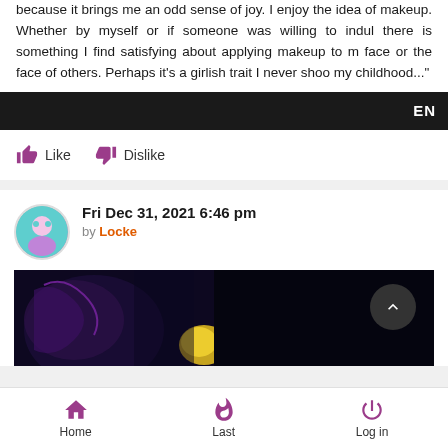because it brings me an odd sense of joy. I enjoy the idea of makeup. Whether by myself or if someone was willing to indulge there is something I find satisfying about applying makeup to my face or the face of others. Perhaps it's a girlish trait I never shook my childhood..."
EN
Like  Dislike
Fri Dec 31, 2021 6:46 pm
by Locke
[Figure (illustration): Dark illustration showing anime/manga style artwork with dark background, partially visible at bottom of comment card]
Home  Last  Log in